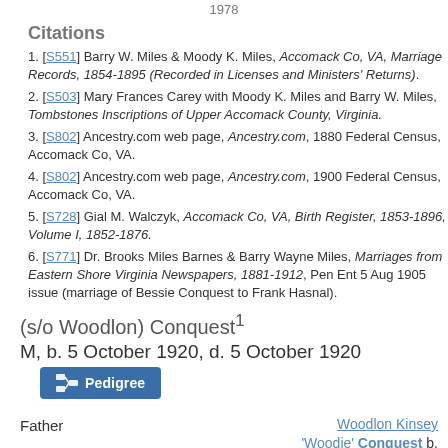1978
Citations
[S551] Barry W. Miles & Moody K. Miles, Accomack Co, VA, Marriage Records, 1854-1895 (Recorded in Licenses and Ministers' Returns).
[S503] Mary Frances Carey with Moody K. Miles and Barry W. Miles, Tombstones Inscriptions of Upper Accomack County, Virginia.
[S802] Ancestry.com web page, Ancestry.com, 1880 Federal Census, Accomack Co, VA.
[S802] Ancestry.com web page, Ancestry.com, 1900 Federal Census, Accomack Co, VA.
[S728] Gial M. Walczyk, Accomack Co, VA, Birth Register, 1853-1896, Volume I, 1852-1876.
[S771] Dr. Brooks Miles Barnes & Barry Wayne Miles, Marriages from Eastern Shore Virginia Newspapers, 1881-1912, Pen Ent 5 Aug 1905 issue (marriage of Bessie Conquest to Frank Hasnal).
(s/o Woodlon) Conquest1
M, b. 5 October 1920, d. 5 October 1920
[Figure (other): Pedigree button]
Father
Woodlon Kinsey 'Woodie' Conquest b.